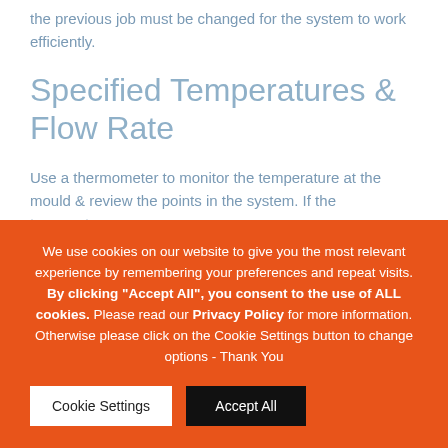the previous job must be changed for the system to work efficiently.
Specified Temperatures & Flow Rate
Use a thermometer to monitor the temperature at the mould & review the points in the system. If the temperature...
We use cookies on our website to give you the most relevant experience by remembering your preferences and repeat visits. By clicking “Accept All”, you consent to the use of ALL cookies. Please read our Privacy Policy for more information. Otherwise please click on the Cookie Settings button to change options - Thank You
Cookie Settings
Accept All